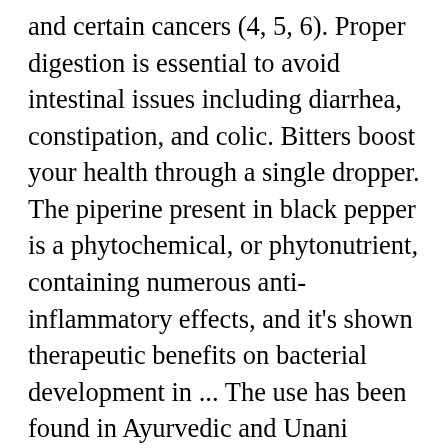and certain cancers (4, 5, 6). Proper digestion is essential to avoid intestinal issues including diarrhea, constipation, and colic. Bitters boost your health through a single dropper. The piperine present in black pepper is a phytochemical, or phytonutrient, containing numerous anti-inflammatory effects, and it's shown therapeutic benefits on bacterial development in ... The use has been found in Ayurvedic and Unani practices of medicine in India. Some studies have shown that pepper may have beneficial effects on gastric mucosal damage and peptic ulcers due to its antioxidant and anti-inflammatory properties. Studies suggest that a diet high in antioxidants may help prevent or delay the